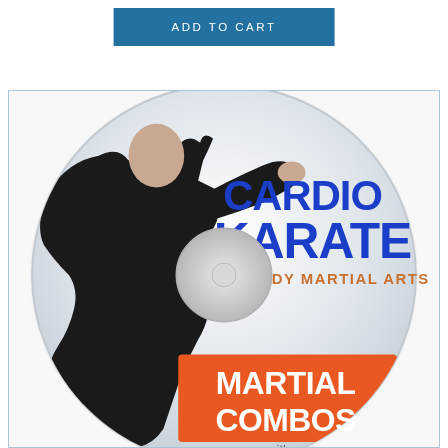[Figure (screenshot): Blue 'ADD TO CART' button with white uppercase text on a dark blue background]
[Figure (photo): DVD disc for 'Cardio Karate - Total Body Martial Arts: Martial Combos with Steve' featuring a man in black clothing in a martial arts pose. The disc shows text: CARDIO KARATE (blue, large), TOTAL BODY MARTIAL ARTS (orange), MARTIAL COMBOS (white on orange rectangle), with Steve below.]